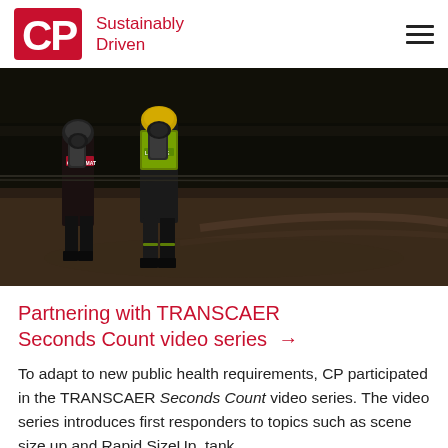CP Sustainably Driven
[Figure (photo): Two hazmat/emergency responders in reflective gear and breathing apparatus walking away from camera on a dark industrial/rail yard surface at night.]
Partnering with TRANSCAER Seconds Count video series →
To adapt to new public health requirements, CP participated in the TRANSCAER Seconds Count video series. The video series introduces first responders to topics such as scene size up and Rapid SizeUp, tank